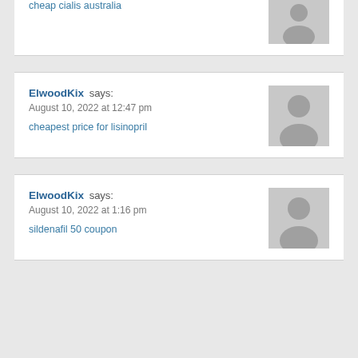cheap cialis australia
ElwoodKix says:
August 10, 2022 at 12:47 pm
cheapest price for lisinopril
ElwoodKix says:
August 10, 2022 at 1:16 pm
sildenafil 50 coupon